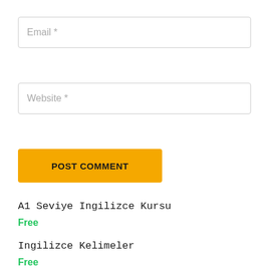Email *
Website *
POST COMMENT
A1 Seviye Ingilizce Kursu
Free
Ingilizce Kelimeler
Free